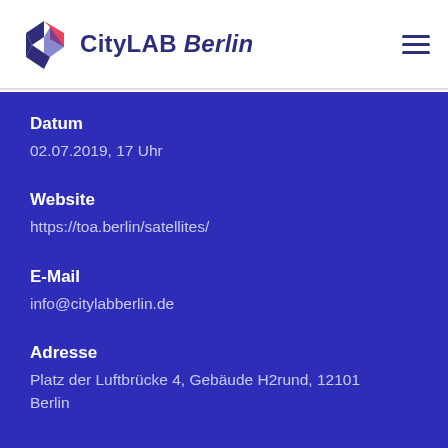CityLAB Berlin
Datum
02.07.2019, 17 Uhr
Website
https://toa.berlin/satellites/
E-Mail
info@citylabberlin.de
Adresse
Platz der Luftbrücke 4, Gebäude H2rund, 12101 Berlin